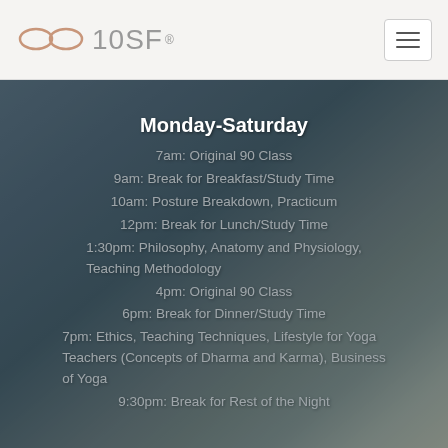10SF ®
Monday-Saturday
7am: Original 90 Class
9am: Break for Breakfast/Study Time
10am: Posture Breakdown, Practicum
12pm: Break for Lunch/Study Time
1:30pm: Philosophy, Anatomy and Physiology, Teaching Methodology
4pm: Original 90 Class
6pm: Break for Dinner/Study Time
7pm: Ethics, Teaching Techniques, Lifestyle for Yoga Teachers (Concepts of Dharma and Karma), Business of Yoga
9:30pm: Break for Rest of the Night